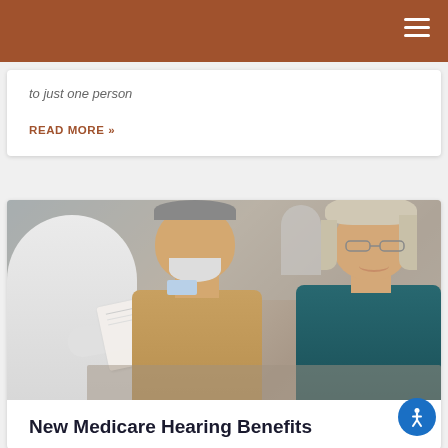to just one person
READ MORE »
[Figure (photo): Elderly couple (man with white beard, woman with glasses and blonde hair) consulting with a doctor in white coat who is handing them papers, in an office setting with other people in background]
New Medicare Hearing Benefits